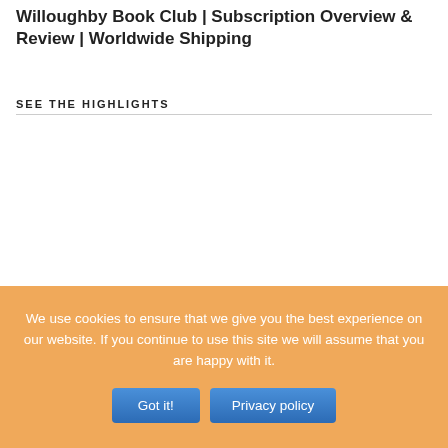Willoughby Book Club | Subscription Overview & Review | Worldwide Shipping
SEE THE HIGHLIGHTS
SHOW US SOME LOVE
We use cookies to ensure that we give you the best experience on our website. If you continue to use this site we will assume that you are happy with it.
Got it!
Privacy policy